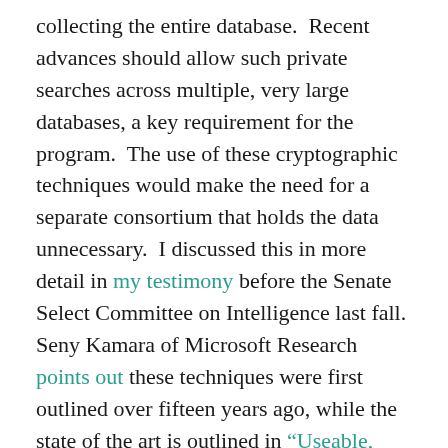collecting the entire database. Recent advances should allow such private searches across multiple, very large databases, a key requirement for the program. The use of these cryptographic techniques would make the need for a separate consortium that holds the data unnecessary. I discussed this in more detail in my testimony before the Senate Select Committee on Intelligence last fall. Seny Kamara of Microsoft Research points out these techniques were first outlined over fifteen years ago, while the state of the art is outlined in “Useable, Secure, Private Search” from IEEE Security and Privacy.
There are still obstacles, such as the question of whether telecommunications companies would retain data voluntarily long enough for the program to be useful to national security. Requiring companies to retain data for a longer period of time may be even worse for privacy than the status quo of NSA bulk